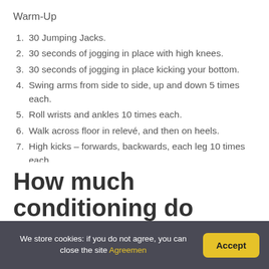Warm-Up
30 Jumping Jacks.
30 seconds of jogging in place with high knees.
30 seconds of jogging in place kicking your bottom.
Swing arms from side to side, up and down 5 times each.
Roll wrists and ankles 10 times each.
Walk across floor in relevé, and then on heels.
High kicks – forwards, backwards, each leg 10 times each.
How much conditioning do
We store cookies: if you do not agree, you can close the site Agreemen